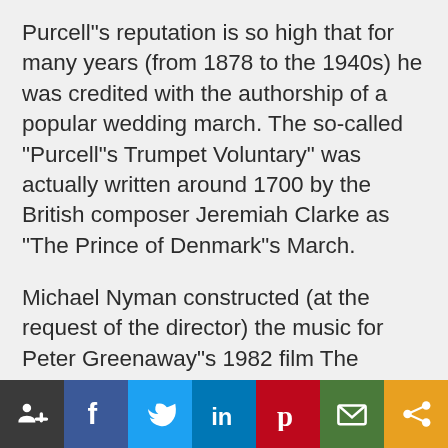Purcell"s reputation is so high that for many years (from 1878 to the 1940s) he was credited with the authorship of a popular wedding march. The so-called "Purcell"s Trumpet Voluntary" was actually written around 1700 by the British composer Jeremiah Clarke as "The Prince of Denmark"s March.
Michael Nyman constructed (at the request of the director) the music for Peter Greenaway"s 1982 film The Draughtsman"s Contract on ostinatos from various compositions by Purcell (one attributed to him by mistake). Nyman considered Purcell
[Figure (infographic): Social media sharing bar with icons: AddThis/people icon (dark), Facebook (blue), Twitter (light blue), LinkedIn (blue), Pinterest (red), Email/mail (green), Share/more (orange)]